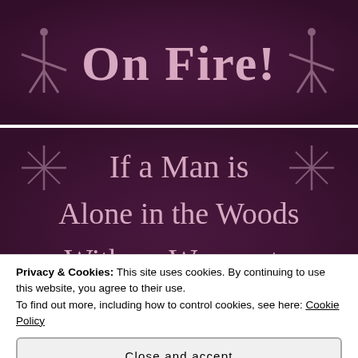[Figure (photo): Top portion of a decorative banner with dark purple/maroon background showing text 'On Fire!' with star figures on each side]
[Figure (photo): Middle portion of a decorative banner with dark purple/maroon background showing text 'If a Man is Alone in the Woods With no Women to Hear Him Is He' in pink/light colored serif font, with star shapes in corners]
Privacy & Cookies: This site uses cookies. By continuing to use this website, you agree to their use.
To find out more, including how to control cookies, see here: Cookie Policy
Close and accept
[Figure (photo): Bottom strip of a wooden or decorative surface]